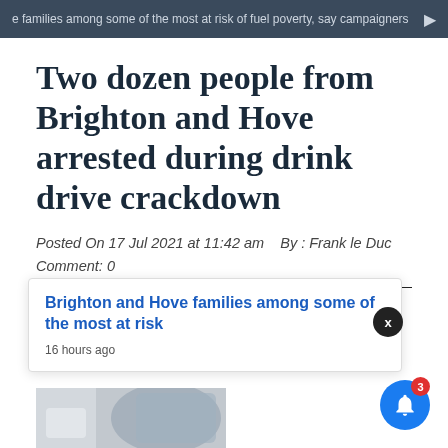e families among some of the most at risk of fuel poverty, say campaigners
Two dozen people from Brighton and Hove arrested during drink drive crackdown
Posted On 17 Jul 2021 at 11:42 am   By : Frank le Duc   Comment: 0
Twenty-four people from Brighton and Hove were arrested during the month-long annual summer drink and drive crackdown announced this week.
Brighton and Hove families among some of the most at risk
16 hours ago
[Figure (photo): Partial view of a car side mirror with suburban street in background]